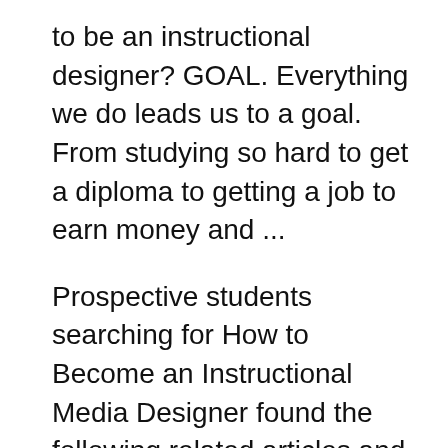to be an instructional designer? GOAL. Everything we do leads us to a goal. From studying so hard to get a diploma to getting a job to earn money and ...
Prospective students searching for How to Become an Instructional Media Designer found the following related articles and links useful. Instructional Designers are the professionals who design e-learning and online course material. They are also responsible for creating virtual reality tools and
So You Want to Be an Instructional Designer? By Marguerite McNeal Mar 29, 2016. Image Credit: Darko1981 / Shutterstock. instructional design. Colleges. Curious about a career in instructional